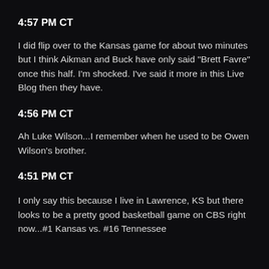4:57 PM CT
I did flip over to the Kansas game for about two minutes but I think Aikman and Buck have only said "Brett Favre" once this half. I'm shocked. I've said it more in this Live Blog then they have.
4:56 PM CT
Ah Luke Wilson...I remember when he used to be Owen Wilson's brother.
4:51 PM CT
I only say this because I live in Lawrence, KS but there looks to be a pretty good basketball game on CBS right now...#1 Kansas vs. #16 Tennessee